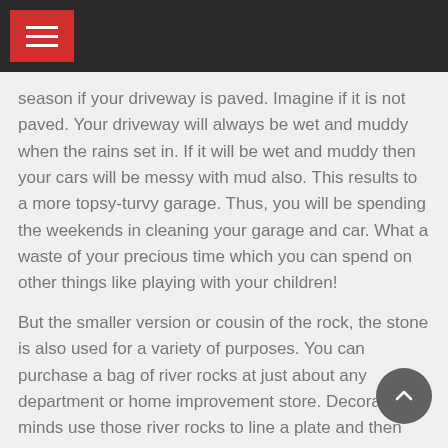season if your driveway is paved. Imagine if it is not paved. Your driveway will always be wet and muddy when the rains set in. If it will be wet and muddy then your cars will be messy with mud also. This results to a more topsy-turvy garage. Thus, you will be spending the weekends in cleaning your garage and car. What a waste of your precious time which you can spend on other things like playing with your children!
But the smaller version or cousin of the rock, the stone is also used for a variety of purposes. You can purchase a bag of river rocks at just about any department or home improvement store. Decorative minds use those river rocks to line a plate and then place candles in the plate. Creative folks sometimes put the rocks in a clear vase and then add water and